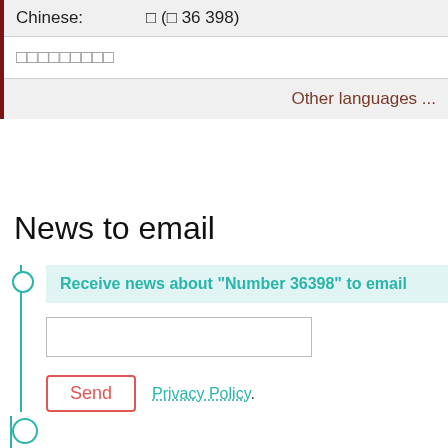| Chinese: | □ (□ 36 398) |
| □□□□□□□□□ |  |
|  | Other languages ... |
News to email
Receive news about "Number 36398" to email
Send   Privacy Policy.